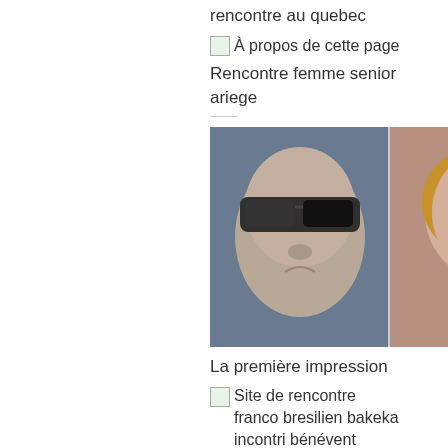rencontre au quebec
À propos de cette page
Rencontre femme senior ariege
[Figure (photo): Two photos side by side: left shows a man wearing large futuristic glasses making a puckered expression; right shows a smiling woman with a baby]
La première impression
Site de rencontre franco bresilien bakeka incontri bénévent
Site de rencontre franco bresilien
[Figure (photo): Portrait of a smiling young woman with long blonde hair]